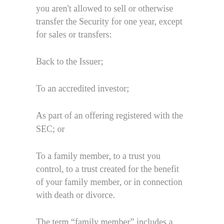you aren't allowed to sell or otherwise transfer the Security for one year, except for sales or transfers:
Back to the Issuer;
To an accredited investor;
As part of an offering registered with the SEC; or
To a family member, to a trust you control, to a trust created for the benefit of your family member, or in connection with death or divorce.
The term “family member” includes a child, stepchild, grandchild, parent, stepparent, grandparent, spouse or spousal equivalent, sibling, mother-in-law, father-in-law, son-in-law, daughter-in-law, brother-in-law, or sister-in-law.